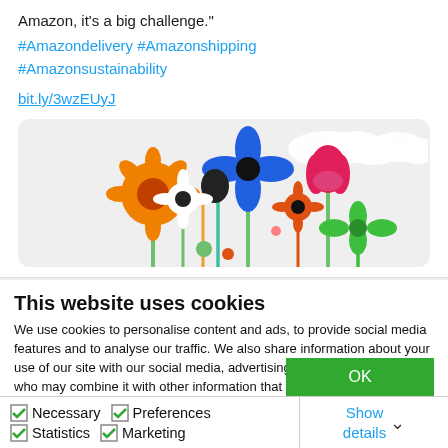Amazon, it's a big challenge."
#Amazondelivery #Amazonshipping #Amazonsustainability
bit.ly/3wzEUyJ
[Figure (illustration): Colorful illustrated flowers on a light grey rounded card background. Blue 4-petal flower, orange sunflower, white flowers, pink tulip, orange daisy, green leaves, dark seeds, white clouds.]
This website uses cookies
We use cookies to personalise content and ads, to provide social media features and to analyse our traffic. We also share information about your use of our site with our social media, advertising and analytics partners who may combine it with other information that you've provided to them or that they've collected from your use of their services. You consent to our cookies if you continue to use our website.
OK
Necessary  Preferences  Statistics  Marketing  Show details